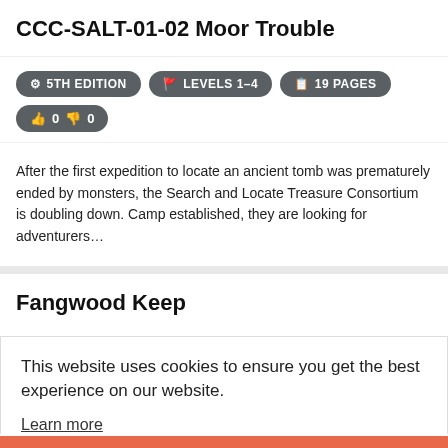CCC-SALT-01-02 Moor Trouble
⚙ 5TH EDITION   🚩 LEVELS 1–4   📋 19 PAGES   👍 0  👎 0
After the first expedition to locate an ancient tomb was prematurely ended by monsters, the Search and Locate Treasure Consortium is doubling down. Camp established, they are looking for adventurers…
Fangwood Keep
This website uses cookies to ensure you get the best experience on our website.
Learn more
Got it!
Katha - the City of Potential